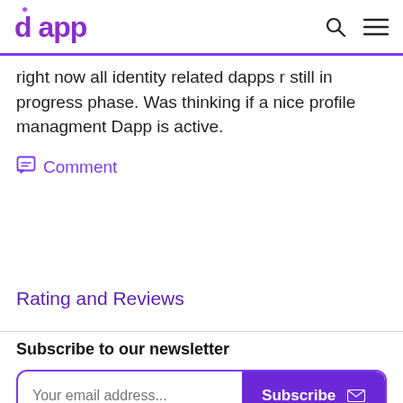dapp [logo] [search icon] [menu icon]
right now all identity related dapps r still in progress phase. Was thinking if a nice profile managment Dapp is active.
Comment
Rating and Reviews
Subscribe to our newsletter
Your email address... Subscribe